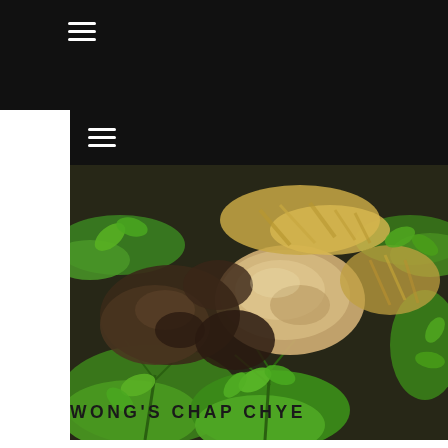[Figure (photo): Close-up photo of a Chinese braised mixed vegetable dish (Chap Chye) featuring mushrooms, dried tofu skin, and fresh green coriander/cilantro garnish on a dark plate]
WONG'S CHAP CHYE